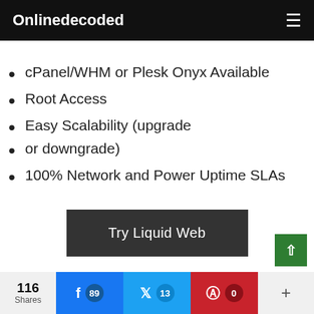Onlinedecoded
cPanel/WHM or Plesk Onyx Available
Root Access
Easy Scalability (upgrade
or downgrade)
100% Network and Power Uptime SLAs
Try Liquid Web
116 Shares  89  13  0  +